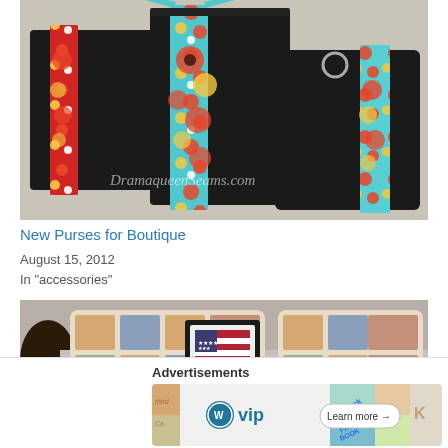[Figure (photo): Three black fabric tote/purse bags with colorful floral print straps and accents (teal/red/yellow flowers), displayed on a light surface. Watermark reads 'DramaqueenSeams.com']
New Purses for Boutique
August 15, 2012
In "accessories"
[Figure (photo): Decorative pillows with American patriotic/teddy bear themed fabric print, arranged on a light surface with a dark circular object on the left side]
Advertisements
[Figure (other): WordPress VIP advertisement banner with slack and FACEBOOK hashtag graphics and 'Learn more' button]